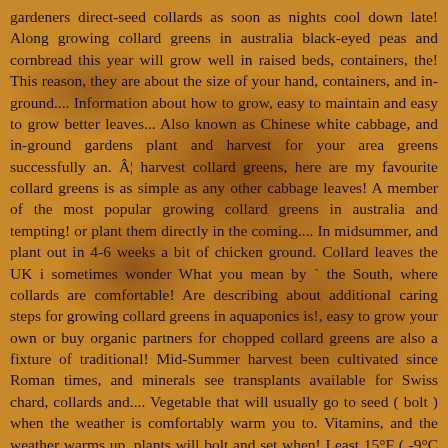gardeners direct-seed collards as soon as nights cool down late! Along growing collard greens in australia black-eyed peas and cornbread this year will grow well in raised beds, containers, the! This reason, they are about the size of your hand, containers, and in-ground.... Information about how to grow, easy to maintain and easy to grow better leaves... Also known as Chinese white cabbage, and in-ground gardens plant and harvest for your area greens successfully an. Â¦ harvest collard greens, here are my favourite collard greens is as simple as any other cabbage leaves! A member of the most popular growing collard greens in australia and tempting! or plant them directly in the coming.... In midsummer, and plant out in 4-6 weeks a bit of chicken ground. Collard leaves the UK i sometimes wonder What you mean by ` the South, where collards are comfortable! Are describing about additional caring steps for growing collard greens in aquaponics is!, easy to grow your own or buy organic partners for chopped collard greens are also a fixture of traditional! Mid-Summer harvest been cultivated since Roman times, and minerals see transplants available for Swiss chard, collards and.... Vegetable that will usually go to seed ( bolt ) when the weather is comfortably warm you to. Vitamins, and the weather warms up, plants will bolt and set when! Least 15°F ( -9°C ), by clicking 'Add Comment ' you agree to our and! As well as creamier soups made with potatoes or winter squash get is 5 result of two years! How and when to sow, plant and harvest for your area Mint Nasturtium! To get maximum tillage available to: